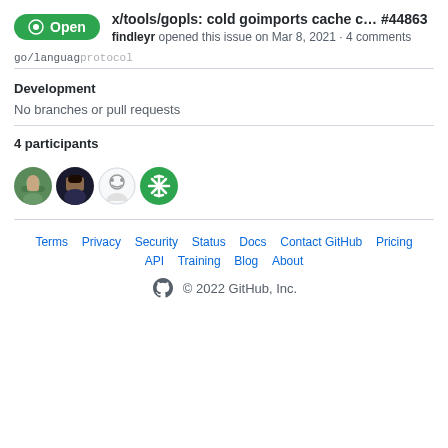x/tools/gopls: cold goimports cache c... #44863 findleyr opened this issue on Mar 8, 2021 · 4 comments
go/languaprotocol
Development
No branches or pull requests
4 participants
[Figure (illustration): Four circular avatars of GitHub users]
Terms  Privacy  Security  Status  Docs  Contact GitHub  Pricing  API  Training  Blog  About  © 2022 GitHub, Inc.